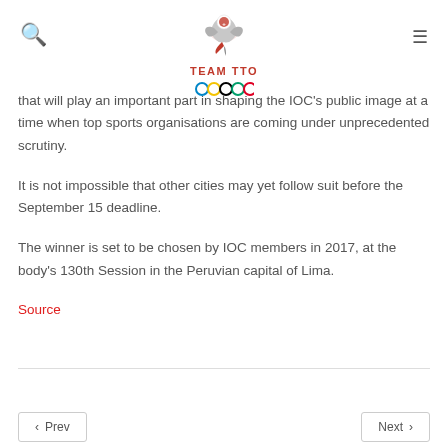TEAM TTO
that will play an important part in shaping the IOC's public image at a time when top sports organisations are coming under unprecedented scrutiny.
It is not impossible that other cities may yet follow suit before the September 15 deadline.
The winner is set to be chosen by IOC members in 2017, at the body's 130th Session in the Peruvian capital of Lima.
Source
< Prev   Next >